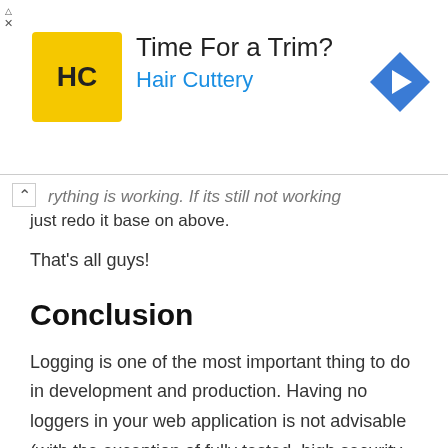[Figure (other): Advertisement banner for Hair Cuttery: yellow logo with HC initials, headline 'Time For a Trim?', subline 'Hair Cuttery' in blue, and a blue diamond-shaped arrow icon on the right. Close/triangle buttons on the left.]
rything is working. If its still not working just redo it base on above.
That's all guys!
Conclusion
Logging is one of the most important thing to do in development and production. Having no loggers in your web application is not advisable (with the exception of fully tested, high security application), loggers can easily point out easily what exception and details occurred